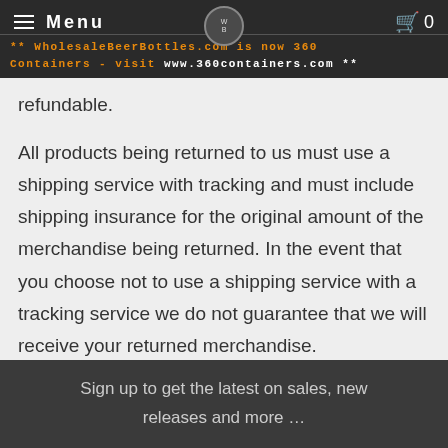Menu | WholesaleBeerBottles.com is now 360 Containers - visit www.360containers.com **
refundable.
All products being returned to us must use a shipping service with tracking and must include shipping insurance for the original amount of the merchandise being returned. In the event that you choose not to use a shipping service with a tracking service we do not guarantee that we will receive your returned merchandise.
Sign up to get the latest on sales, new releases and more …